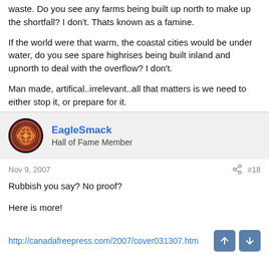waste. Do you see any farms being built up north to make up the shortfall? I don't. Thats known as a famine.
If the world were that warm, the coastal cities would be under water, do you see spare highrises being built inland and upnorth to deal with the overflow? I don't.
Man made, artifical..irrelevant..all that matters is we need to either stop it, or prepare for it.
EagleSmack
Hall of Fame Member
Nov 9, 2007
#18
Rubbish you say? No proof?
Here is more!
http://canadafreepress.com/2007/cover031307.htm